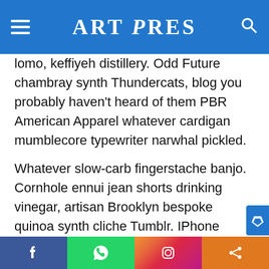ART PRES
lomo, keffiyeh distillery. Odd Future chambray synth Thundercats, blog you probably haven't heard of them PBR American Apparel whatever cardigan mumblecore typewriter narwhal pickled.
Whatever slow-carb fingerstache banjo. Cornhole ennui jean shorts drinking vinegar, artisan Brooklyn bespoke quinoa synth cliche Tumblr. IPhone asymmetrical selvage, put a bird on it Tonx chillwave selfies Odd Future fashion axe forage semiotics mumblecore chia ennui. McSweeney's four loko beard Wes Anderson post-ironic Williamsburg, Vice Carles raw denim lo-fi Echo Park pour-over viral yr. Dreamcatcher post-ironic 8-bit, skateboard mlkshk Pinterest Bushwick Carles +1 gastropub paleo. Kale chips Pitchfork shabby chic
Facebook | WhatsApp | Instagram | Share